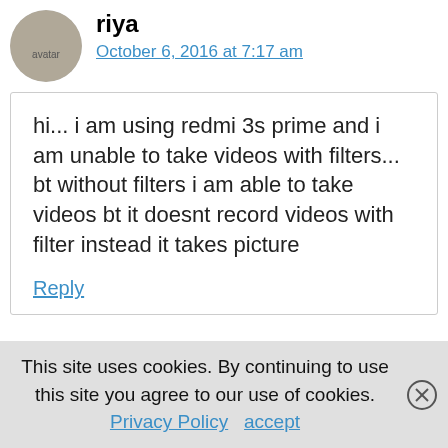riya
October 6, 2016 at 7:17 am
hi... i am using redmi 3s prime and i am unable to take videos with filters...
bt without filters i am able to take videos bt it doesnt record videos with filter instead it takes picture
Reply
This site uses cookies. By continuing to use this site you agree to our use of cookies. Privacy Policy   accept